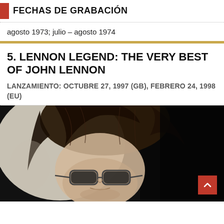FECHAS DE GRABACIÓN
agosto 1973; julio – agosto 1974
5. LENNON LEGEND: THE VERY BEST OF JOHN LENNON
LANZAMIENTO: OCTUBRE 27, 1997 (GB), FEBRERO 24, 1998 (EU)
[Figure (photo): Black and white photograph of John Lennon wearing round sunglasses with long hair, close-up portrait]